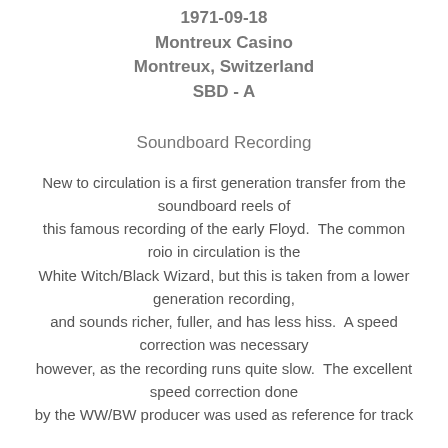1971-09-18
Montreux Casino
Montreux, Switzerland
SBD - A
Soundboard Recording
New to circulation is a first generation transfer from the soundboard reels of this famous recording of the early Floyd.  The common roio in circulation is the White Witch/Black Wizard, but this is taken from a lower generation recording, and sounds richer, fuller, and has less hiss.  A speed correction was necessary however, as the recording runs quite slow.  The excellent speed correction done by the WW/BW producer was used as reference for track